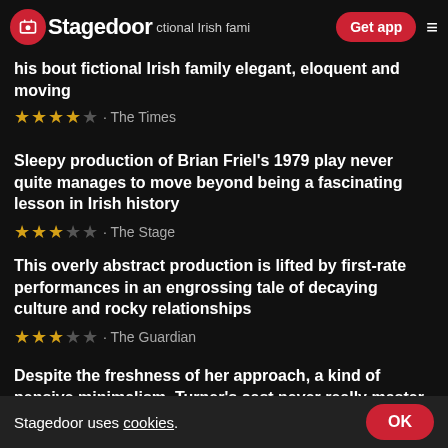Stagedoor — Get app navigation bar
★★★★☆ · Financial Times
his bout fictional Irish family elegant, eloquent and moving
★★★★☆ · The Times
Sleepy production of Brian Friel's 1979 play never quite manages to move beyond being a fascinating lesson in Irish history
★★★☆☆ · The Stage
This overly abstract production is lifted by first-rate performances in an engrossing tale of decaying culture and rocky relationships
★★★☆☆ · The Guardian
Despite the freshness of her approach, a kind of pensive minimalism, Turner's cast never really master the delicate m…
Stagedoor uses cookies. OK